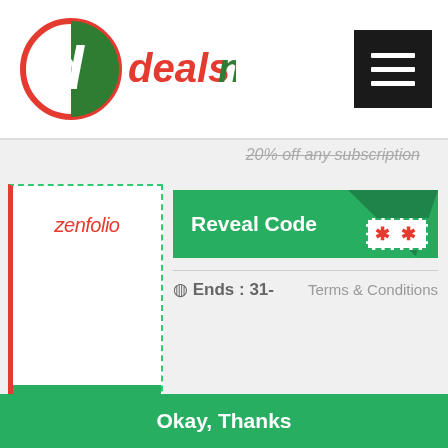[Figure (logo): Dealsnado logo with stylized 'd' icon and text 'dealsnado']
[Figure (other): Hamburger menu icon (three horizontal lines) on black background]
20% off any subscription
zenfolio
Code
Reveal Code
** **
Ends : 31-
Terms & Conditions
To provide our users with a secure browsing experience Dealsnado uses cookies. Upon proceeding with the website you agree to our privacy policy.
Okay, Thanks
Reveal Code